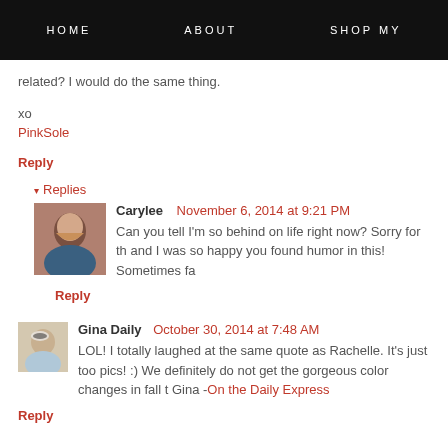HOME   ABOUT   SHOP MY
related? I would do the same thing.
xo
PinkSole
Reply
Replies
Carylee   November 6, 2014 at 9:21 PM
Can you tell I'm so behind on life right now? Sorry for th and I was so happy you found humor in this! Sometimes fa
Reply
Gina Daily   October 30, 2014 at 7:48 AM
LOL! I totally laughed at the same quote as Rachelle. It's just too pics! :) We definitely do not get the gorgeous color changes in fall t Gina - On the Daily Express
Reply